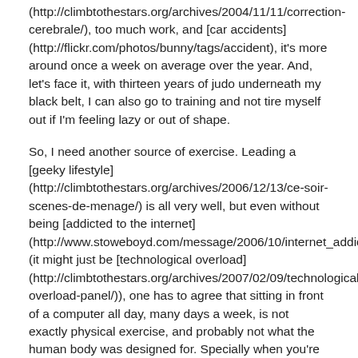(http://climbtothestars.org/archives/2004/11/11/correction-cerebrale/), too much work, and [car accidents] (http://flickr.com/photos/bunny/tags/accident), it's more around once a week on average over the year. And, let's face it, with thirteen years of judo underneath my black belt, I can also go to training and not tire myself out if I'm feeling lazy or out of shape.
So, I need another source of exercise. Leading a [geeky lifestyle] (http://climbtothestars.org/archives/2006/12/13/ce-soir-scenes-de-menage/) is all very well, but even without being [addicted to the internet] (http://www.stoweboyd.com/message/2006/10/internet_addict.html) (it might just be [technological overload] (http://climbtothestars.org/archives/2007/02/09/technological-overload-panel/)), one has to agree that sitting in front of a computer all day, many days a week, is not exactly physical exercise, and probably not what the human body was designed for. Specially when you're working from home and you live alone — trips to the kitchen and the bathroom don't really add up to very much.
First, as with food, motivation and encouragement: something like cutting the risk of developing breast, stomach or colon cancer by 50%, just by doing 30 minutes of exercise per day. Wow. There are a whole lot of other benefits on your health, of course, but this is the one that